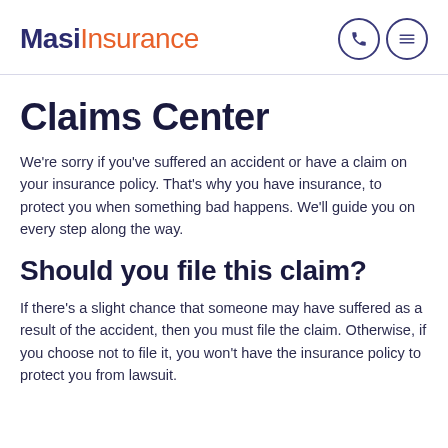MasiInsurance
Claims Center
We're sorry if you've suffered an accident or have a claim on your insurance policy. That's why you have insurance, to protect you when something bad happens. We'll guide you on every step along the way.
Should you file this claim?
If there's a slight chance that someone may have suffered as a result of the accident, then you must file the claim. Otherwise, if you choose not to file it, you won't have the insurance policy to protect you from lawsuit.